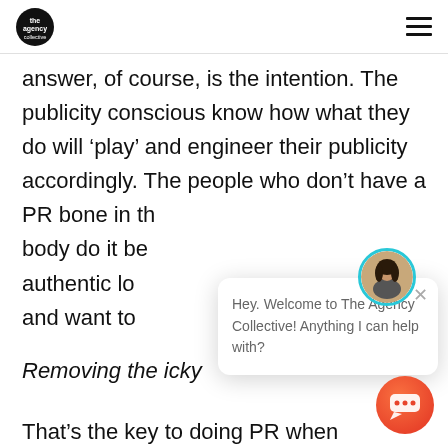The Agency Collective logo and navigation
answer, of course, is the intention. The publicity conscious know how what they do will ‘play’ and engineer their publicity accordingly. The people who don’t have a PR bone in their body do it because of authentic love for what they do and want to share
Removing the icky
That’s the key to doing PR when